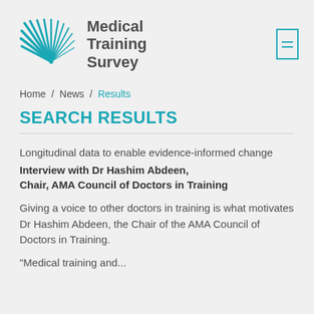[Figure (logo): Medical Training Survey logo with teal bird/feather graphic and text 'Medical Training Survey']
Home / News / Results
SEARCH RESULTS
Longitudinal data to enable evidence-informed change
Interview with Dr Hashim Abdeen, Chair, AMA Council of Doctors in Training
Giving a voice to other doctors in training is what motivates Dr Hashim Abdeen, the Chair of the AMA Council of Doctors in Training.
"Medical training and...